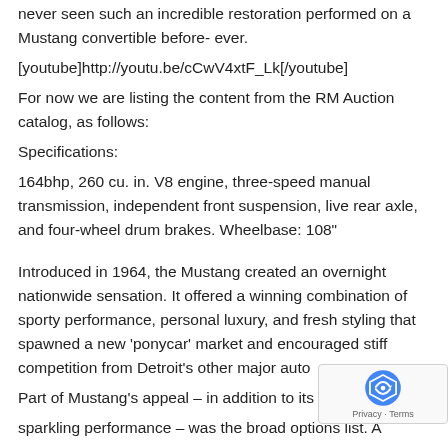never seen such an incredible restoration performed on a Mustang convertible before- ever.
[youtube]http://youtu.be/cCwV4xtF_Lk[/youtube]
For now we are listing the content from the RM Auction catalog, as follows:
Specifications:
164bhp, 260 cu. in. V8 engine, three-speed manual transmission, independent front suspension, live rear axle, and four-wheel drum brakes. Wheelbase: 108"
Introduced in 1964, the Mustang created an overnight nationwide sensation. It offered a winning combination of sporty performance, personal luxury, and fresh styling that spawned a new 'ponycar' market and encouraged stiff competition from Detroit's other major auto makers. Part of Mustang's appeal – in addition to its trim size and sparkling performance – was the broad options list. A